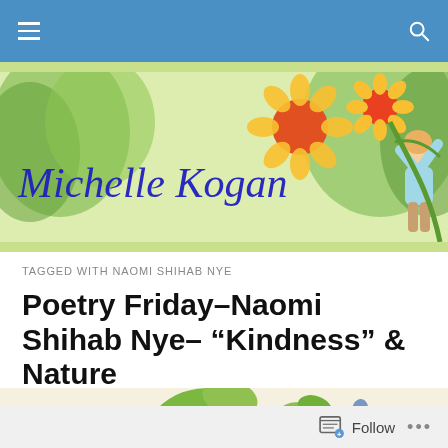Michelle Kogan – navigation bar
[Figure (illustration): Michelle Kogan blog banner: watercolor illustration of sunflowers, green plants, and a child reaching up, with 'Michelle Kogan' in blue cursive script]
TAGGED WITH NAOMI SHIHAB NYE
Poetry Friday–Naomi Shihab Nye– "Kindness" & Nature
[Figure (illustration): Watercolor illustration of botanical elements: yellow flowers, green leaves, and blue poppy buds on a light background]
Follow •••